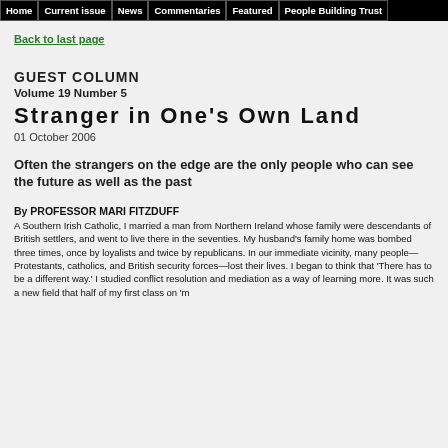Home | Current issue | News | Commentaries | Featured | People Building Trust
Back to last page
GUEST COLUMN
Volume 19 Number 5
Stranger in One's Own Land
01 October 2006
Often the strangers on the edge are the only people who can see the future as well as the past
By PROFESSOR MARI FITZDUFF
A Southern Irish Catholic, I married a man from Northern Ireland whose family were descendants of British settlers, and went to live there in the seventies. My husband's family home was bombed three times, once by loyalists and twice by republicans. In our immediate vicinity, many people—Protestants, catholics, and British security forces—lost their lives. I began to think that 'There has to be a different way.' I studied conflict resolution and mediation as a way of learning more. It was such a new field that half of my first class on 'm